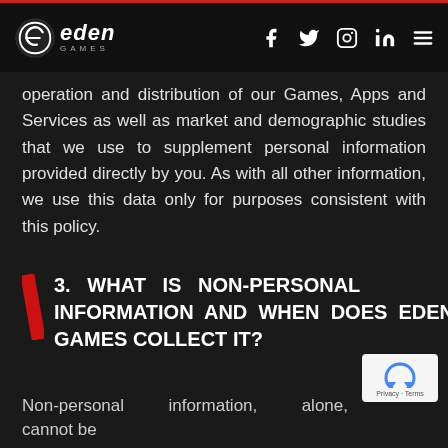Eden Games — Navigation header with logo and social icons (Facebook, Twitter, Instagram, LinkedIn, Menu)
operation and distribution of our Games, Apps and Services as well as market and demographic studies that we use to supplement personal information provided directly by you. As with all other information, we use this data only for purposes consistent with this policy.
3. WHAT IS NON-PERSONAL INFORMATION AND WHEN DOES EDEN GAMES COLLECT IT?
Non-personal information, alone, cannot be...